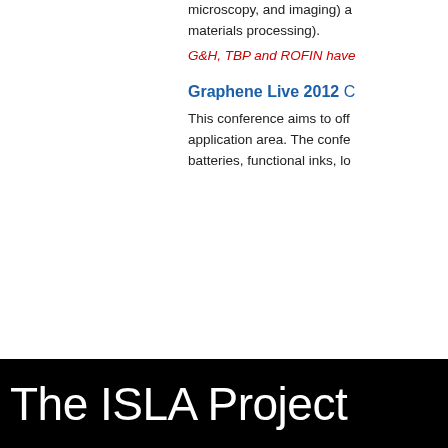microscopy, and imaging) a materials processing).
G&H, TBP and ROFIN have
Graphene Live 2012 C
This conference aims to off application area. The confe batteries, functional inks, lo
The ISLA Project